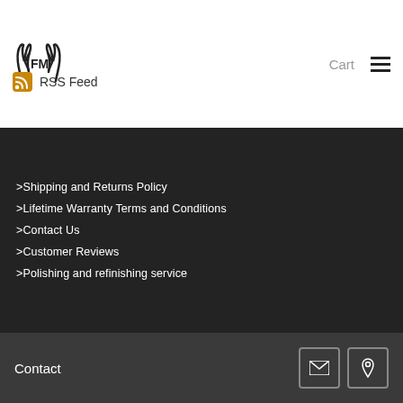[Figure (logo): FM brand logo with antlers around FM text in a circular design]
Cart
RSS Feed
>Shipping and Returns Policy
>Lifetime Warranty Terms and Conditions
>Contact Us
>Customer Reviews
>Polishing and refinishing service
Contact